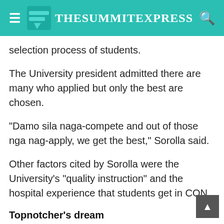The Summit Express
selection process of students.
The University president admitted there are many who applied but only the best are chosen.
"Damo sila naga-compete and out of those nga nag-apply, we get the best," Sorolla said.
Other factors cited by Sorolla were the University's "quality instruction" and the hospital experience that students get in CON.
Topnotcher's dream
For Almira Louise Olete Hinsoy, bagging the top 1 in the June 2019 NLE was truly a dream come true.